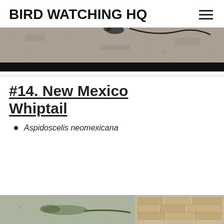BIRD WATCHING HQ
[Figure (photo): Close-up photo of a lizard tail on a rough asphalt or concrete surface, with dark bar at bottom]
#14. New Mexico Whiptail
Aspidoscelis neomexicana
[Figure (photo): Partial photo of a New Mexico Whiptail lizard at bottom of page]